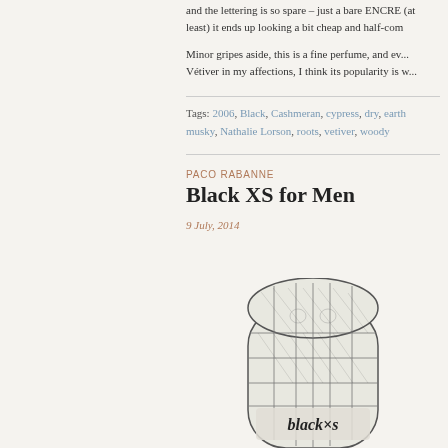and the lettering is so spare – just a bare ENCRE (at least) it ends up looking a bit cheap and half-con...
Minor gripes aside, this is a fine perfume, and ev... Vétiver in my affections, I think its popularity is w...
Tags: 2006, Black, Cashmeran, cypress, dry, earth, musky, Nathalie Lorson, roots, vetiver, woody
PACO RABANNE
Black XS for Men
9 July, 2014
[Figure (illustration): Pencil sketch illustration of the Paco Rabanne Black XS for Men perfume bottle, showing a cylindrical bottle with cross-hatch/grid design and 'blackxs' lettering at the bottom]